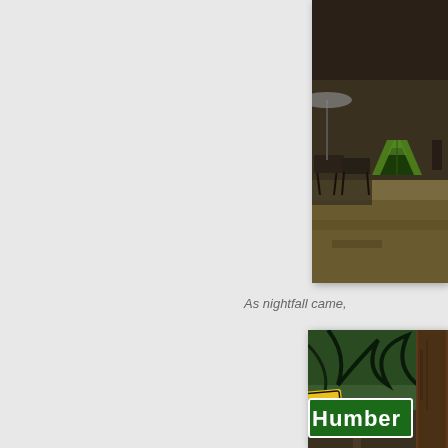[Figure (photo): Camping scene at dusk showing chairs, umbrella, and a green tent in dry grassland]
As nightfall came,
[Figure (photo): Road sign reading 'Humber' mounted on a wooden post surrounded by tall pine trees, with a yellow warning sign partially visible]